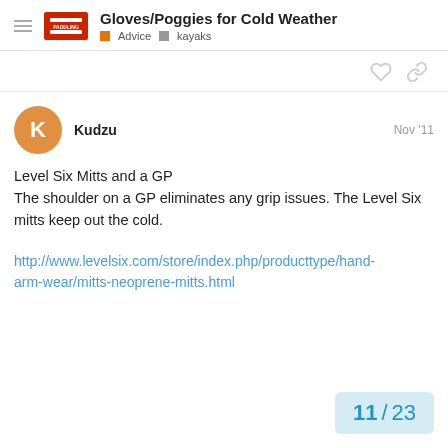Gloves/Poggies for Cold Weather — Advice · kayaks
Kudzu    Nov '11
Level Six Mitts and a GP
The shoulder on a GP eliminates any grip issues. The Level Six mitts keep out the cold.
http://www.levelsix.com/store/index.php/producttype/hand-arm-wear/mitts-neoprene-mitts.html
11 / 23